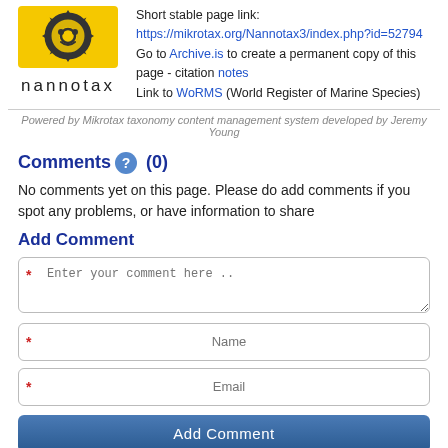[Figure (logo): Nannotax logo: yellow circular gear/cog icon above the text 'nannotax' in spaced lowercase letters]
Short stable page link:
https://mikrotax.org/Nannotax3/index.php?id=52794
Go to Archive.is to create a permanent copy of this page - citation notes
Link to WoRMS (World Register of Marine Species)
Powered by Mikrotax taxonomy content management system developed by Jeremy Young
Comments (0)
No comments yet on this page. Please do add comments if you spot any problems, or have information to share
Add Comment
* Enter your comment here ..
* Name
* Email
Add Comment